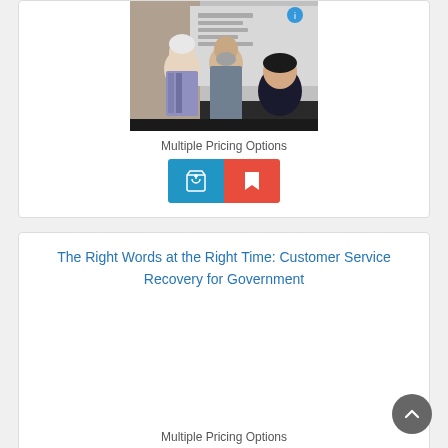[Figure (photo): Photo of elderly couple interacting with a person in dark clothing, possibly in an office or classroom setting]
Multiple Pricing Options
[Figure (other): Blue shopping cart button and red bookmark button]
The Right Words at the Right Time: Customer Service Recovery for Government
Multiple Pricing Options
[Figure (other): Blue shopping cart button and red bookmark button]